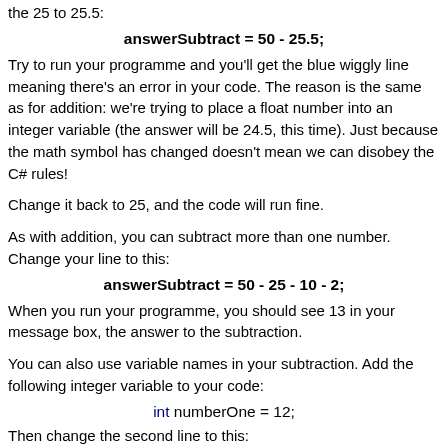the 25 to 25.5:
Try to run your programme and you'll get the blue wiggly line meaning there's an error in your code. The reason is the same as for addition: we're trying to place a float number into an integer variable (the answer will be 24.5, this time). Just because the math symbol has changed doesn't mean we can disobey the C# rules!
Change it back to 25, and the code will run fine.
As with addition, you can subtract more than one number. Change your line to this:
When you run your programme, you should see 13 in your message box, the answer to the subtraction.
You can also use variable names in your subtraction. Add the following integer variable to your code:
Then change the second line to this: